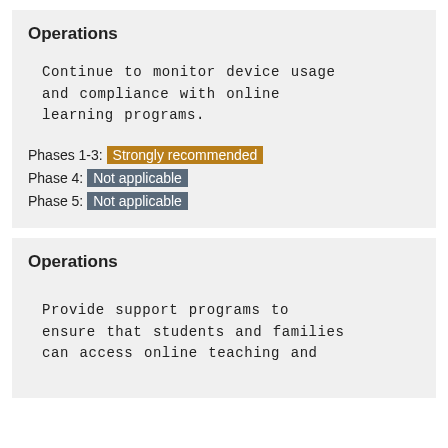Operations
Continue to monitor device usage and compliance with online learning programs.
Phases 1-3: Strongly recommended
Phase 4: Not applicable
Phase 5: Not applicable
Operations
Provide support programs to ensure that students and families can access online teaching and